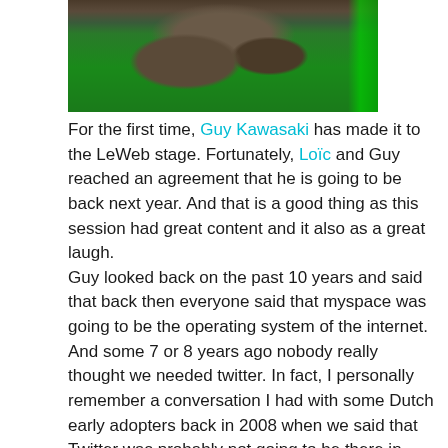[Figure (photo): A panel discussion on a stage with green background lighting. Several people are seated on chairs/sofas in what appears to be a conference or event setting.]
For the first time, Guy Kawasaki has made it to the LeWeb stage. Fortunately, Loïc and Guy reached an agreement that he is going to be back next year. And that is a good thing as this session had great content and it also as a great laugh.
Guy looked back on the past 10 years and said that back then everyone said that myspace was going to be the operating system of the internet. And some 7 or 8 years ago nobody really thought we needed twitter. In fact, I personally remember a conversation I had with some Dutch early adopters back in 2008 when we said that Twitter was probably not going to be there in three years time. And as Loïc and Guy reminded everyone, Twitter is worth about 20 billion. And Guy went on saying that if we would look at his past at Apple, who would have thought that they would have become the